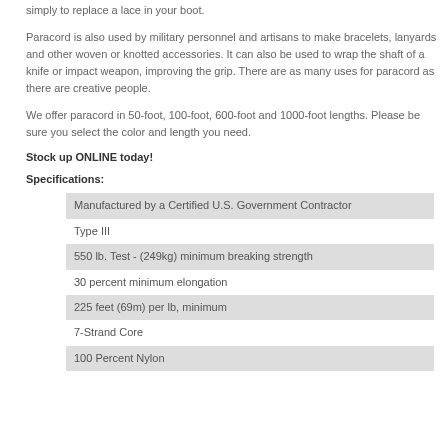simply to replace a lace in your boot.
Paracord is also used by military personnel and artisans to make bracelets, lanyards and other woven or knotted accessories. It can also be used to wrap the shaft of a knife or impact weapon, improving the grip. There are as many uses for paracord as there are creative people.
We offer paracord in 50-foot, 100-foot, 600-foot and 1000-foot lengths. Please be sure you select the color and length you need.
Stock up ONLINE today!
Specifications:
Manufactured by a Certified U.S. Government Contractor
Type III
550 lb. Test - (249kg) minimum breaking strength
30 percent minimum elongation
225 feet (69m) per lb, minimum
7-Strand Core
100 Percent Nylon